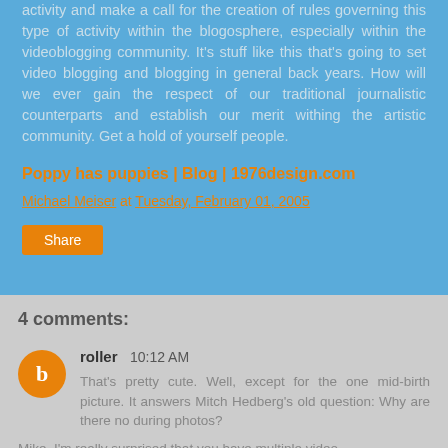activity and make a call for the creation of rules governing this type of activity within the blogosphere, especially within the videoblogging community. It's stuff like this that's going to set video blogging and blogging in general back years. How will we ever gain the respect of our traditional journalistic counterparts and establish our merit withing the artistic community. Get a hold of yourself people.
Poppy has puppies | Blog | 1976design.com
Michael Meiser at Tuesday, February 01, 2005
Share
4 comments:
roller 10:12 AM
That's pretty cute. Well, except for the one mid-birth picture. It answers Mitch Hedberg's old question: Why are there no during photos?
Mike, I'm really surprised that you have multiple video